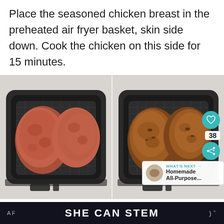Place the seasoned chicken breast in the preheated air fryer basket, skin side down. Cook the chicken on this side for 15 minutes.
[Figure (photo): Two side-by-side photos showing chicken breasts in an air fryer basket — left photo shows raw/lightly seasoned chicken, right photo shows cooked golden-brown chicken with social media UI overlays (heart icon, share button showing 38, and a 'What's Next' card for Homemade All-Purpose...)]
SHE CAN STEM